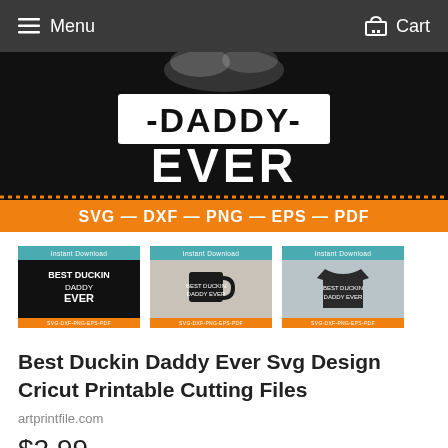Menu   Cart
[Figure (photo): Main product image showing 'Best Duckin Daddy Ever' SVG design on black background with large white text '-DADDY- EVER' and orange banner reading 'SVG — DXF — PNG — EPS — PDF']
[Figure (photo): Thumbnail 1: Black background with 'Best Duckin Daddy Ever' text design and orange bar at bottom showing SVG-DXF-PNG-EPS-PDF]
[Figure (photo): Thumbnail 2: Black mug mockup with 'Best Duckin Daddy Ever' design and orange bar at bottom]
[Figure (photo): Thumbnail 3: Dark t-shirt mockup with 'Best Duckin Daddy Ever' design and orange bar at bottom]
Best Duckin Daddy Ever Svg Design Cricut Printable Cutting Files
artprintfile.com
$2.99